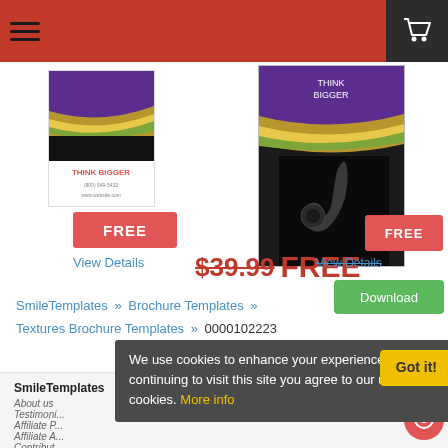[Figure (screenshot): Website header with red background, hamburger menu icon on left, cart icon on right (dark background)]
[Figure (photo): Small product thumbnail showing brochure template with THINK BIGGER text, purple and gold wave design]
[Figure (photo): Large product image showing brochure template opened, purple header, THINK BIGGER text, gold wave design]
FREE
View Details
$39.99 FREE
FREE
View Details
Download
SmileTemplates » Brochure Templates » Textures Brochure Templates » 0000102223
SmileTemplates
Information
Browse By
About us
Testimonials
Affiliate P...
Affiliate A...
Contribut...
Our Blog
Products Features
Subscription Plans
We use cookies to enhance your experience. By continuing to visit this site you agree to our use of cookies. More info
Got it!